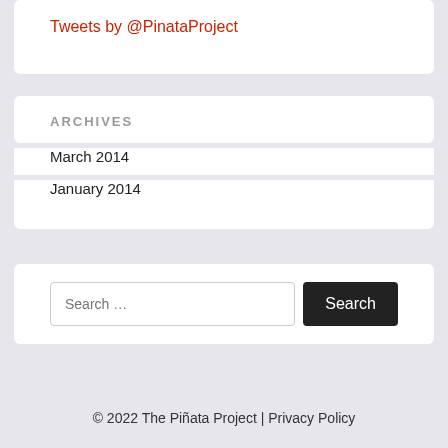Tweets by @PinataProject
ARCHIVES
March 2014
January 2014
Search …
© 2022 The Piñata Project | Privacy Policy